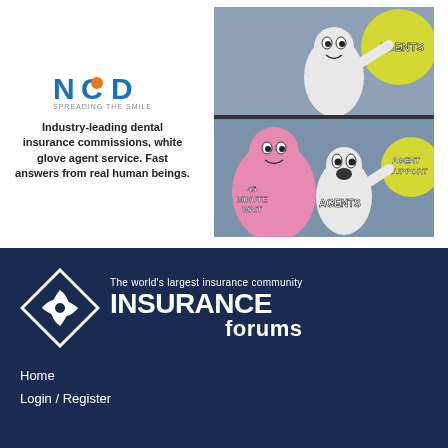[Figure (logo): NCD dental insurance logo with text 'SPREADING THE SMILE']
Industry-leading dental insurance commissions, white glove agent service. Fast answers from real human beings.
[Figure (illustration): Meme comic showing blob characters labeled 'AGENTS' in top panel ignoring '45 MINUTE WAIT' pink blob while reaching for 'AGENT SUPPORT' yellow ball, and bottom panel showing 'AGENTS' label on character grabbing 'AGENT SUPPORT' ball]
[Figure (logo): Insurance Forums logo with diamond/aperture icon and text 'The world's largest insurance community INSURANCE forums']
Home
Login / Register